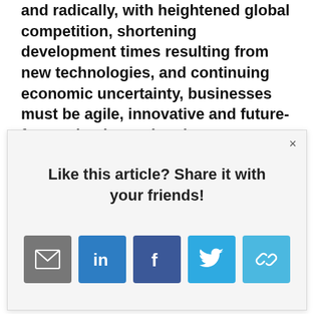and radically, with heightened global competition, shortening development times resulting from new technologies, and continuing economic uncertainty, businesses must be agile, innovative and future-focused to keep ahead.
[Figure (screenshot): A modal popup overlay with the text 'Like this article? Share it with your friends!' and five social sharing icon buttons: email (grey), LinkedIn (blue), Facebook (dark blue), Twitter (light blue), and a link/share icon (light blue). A close X button is in the top right corner.]